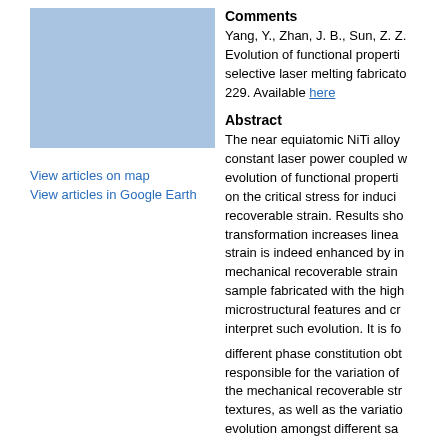[Figure (illustration): Blue rectangular placeholder image]
View articles on map
View articles in Google Earth
Comments
Yang, Y., Zhan, J. B., Sun, Z. Z. Evolution of functional properties selective laser melting fabricato 229. Available here
Abstract
The near equiatomic NiTi alloy constant laser power coupled v evolution of functional properti on the critical stress for induci recoverable strain. Results sho transformation increases linea strain is indeed enhanced by in mechanical recoverable strain sample fabricated with the high microstructural features and cr interpret such evolution. It is fo different phase constitution ob responsible for the variation of the mechanical recoverable str textures, as well as the variatio evolution amongst different sa
DOI